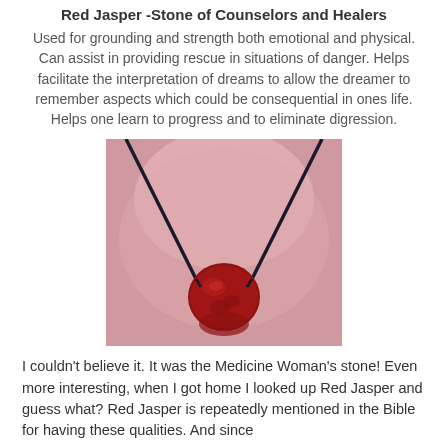Red Jasper -Stone of Counselors and Healers
Used for grounding and strength both emotional and physical. Can assist in providing rescue in situations of danger. Helps facilitate the interpretation of dreams to allow the dreamer to remember aspects which could be consequential in ones life. Helps one learn to progress and to eliminate digression.
[Figure (photo): A red jasper stone pendant on a black cord, worn as a necklace against skin]
I couldn't believe it. It was the Medicine Woman's stone! Even more interesting, when I got home I looked up Red Jasper and guess what? Red Jasper is repeatedly mentioned in the Bible for having these qualities. And since